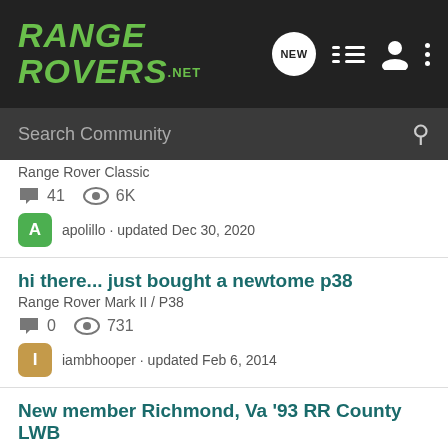RANGE ROVERS .NET
Search Community
Range Rover Classic
41 comments · 6K views
apolillo · updated Dec 30, 2020
hi there... just bought a newtome p38
Range Rover Mark II / P38
0 comments · 731 views
iambhooper · updated Feb 6, 2014
New member Richmond, Va '93 RR County LWB
New Member Introductions, No Questions Please
3 comments · 912 views